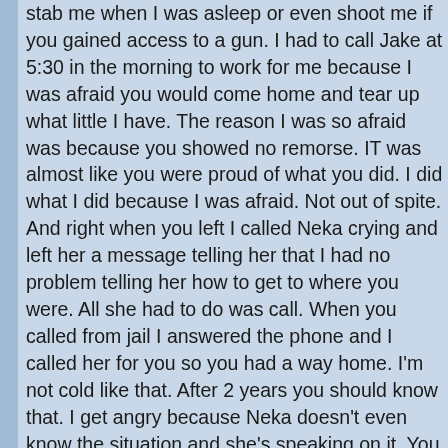stab me when I was asleep or even shoot me if you gained access to a gun. I had to call Jake at 5:30 in the morning to work for me because I was afraid you would come home and tear up what little I have. The reason I was so afraid was because you showed no remorse. IT was almost like you were proud of what you did. I did what I did because I was afraid. Not out of spite. And right when you left I called Neka crying and left her a message telling her that I had no problem telling her how to get to where you were. All she had to do was call. When you called from jail I answered the phone and I called her for you so you had a way home. I'm not cold like that. After 2 years you should know that. I get angry because Neka doesn't even know the situation and she's speaking on it. You let her call to mediate and I don't even know her. Hell if you want to be honest you don't really know her either. Not well. Not well enough for her to be a third party in our relationship. You should have called yourself. At least to apologize. If you felt an ounce of guilt about what you had done you could have apologized. Even if you had to leave a message or send me a text or an email. I would have thought you at least thought about what you had done and wanted to attempt to make ammends. An apology doesn't make everything okay but it is a start. And it goes a long way. Instead, I'm the villian because I did what I felt was best. Rather than sit in my own home and have to fight someone t